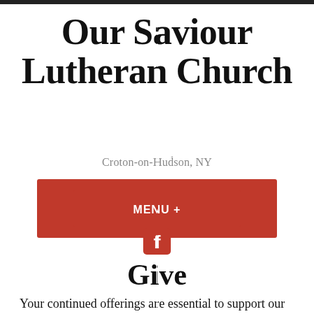Our Saviour Lutheran Church
Croton-on-Hudson, NY
[Figure (other): Red MENU + button]
[Figure (other): Facebook icon - red square with white f]
Give
Your continued offerings are essential to support our mission here in this community and around the world. You may bring